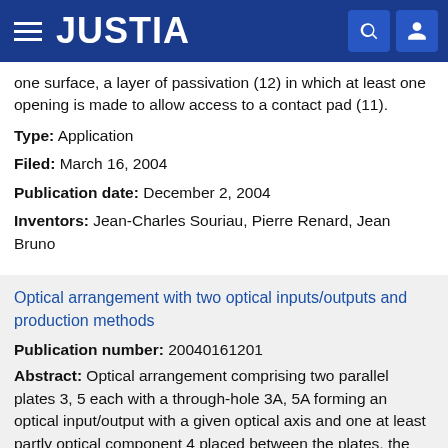JUSTIA
one surface, a layer of passivation (12) in which at least one opening is made to allow access to a contact pad (11).
Type: Application
Filed: March 16, 2004
Publication date: December 2, 2004
Inventors: Jean-Charles Souriau, Pierre Renard, Jean Bruno
Optical arrangement with two optical inputs/outputs and production methods
Publication number: 20040161201
Abstract: Optical arrangement comprising two parallel plates 3, 5 each with a through-hole 3A, 5A forming an optical input/output with a given optical axis and one at least partly optical component 4 placed between the plates, the component and the first plate comprising